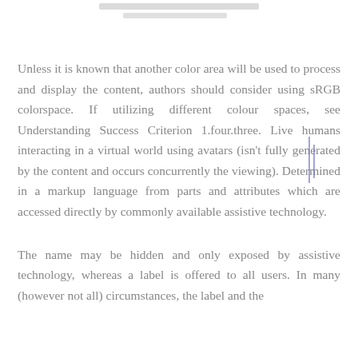[Figure (other): Blurred/redacted header text at top of page showing partially legible text lines]
Unless it is known that another color area will be used to process and display the content, authors should consider using sRGB colorspace. If utilizing different colour spaces, see Understanding Success Criterion 1.four.three. Live humans interacting in a virtual world using avatars (isn't fully generated by the content and occurs concurrently the viewing). Determined in a markup language from parts and attributes which are accessed directly by commonly available assistive technology.
The name may be hidden and only exposed by assistive technology, whereas a label is offered to all users. In many (however not all) circumstances, the label and the